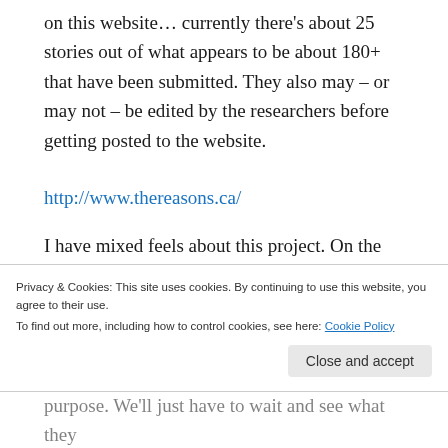on this website… currently there's about 25 stories out of what appears to be about 180+ that have been submitted. They also may – or may not – be edited by the researchers before getting posted to the website.
http://www.thereasons.ca/
I have mixed feels about this project. On the one hand, I'm excited to see some serious and genuine interest in the first-person accounts of survivors. On the other hand, I'm uncomfortable that you
Privacy & Cookies: This site uses cookies. By continuing to use this website, you agree to their use.
To find out more, including how to control cookies, see here: Cookie Policy
purpose. We'll just have to wait and see what they